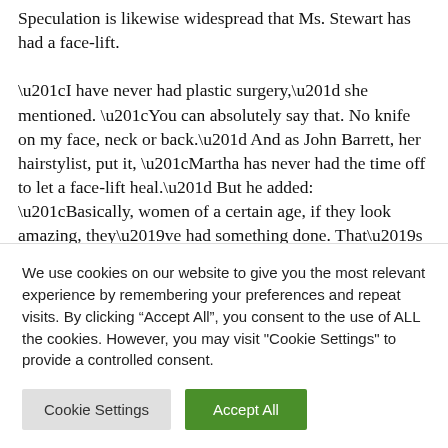Speculation is likewise widespread that Ms. Stewart has had a face-lift. “I have never had plastic surgery,” she mentioned. “You can absolutely say that. No knife on my face, neck or back.” And as John Barrett, her hairstylist, put it, “Martha has never had the time off to let a face-lift heal.” But he added: “Basically, women of a certain age, if they look amazing, they’ve had something done. That’s the way it is.”
We use cookies on our website to give you the most relevant experience by remembering your preferences and repeat visits. By clicking “Accept All”, you consent to the use of ALL the cookies. However, you may visit "Cookie Settings" to provide a controlled consent.